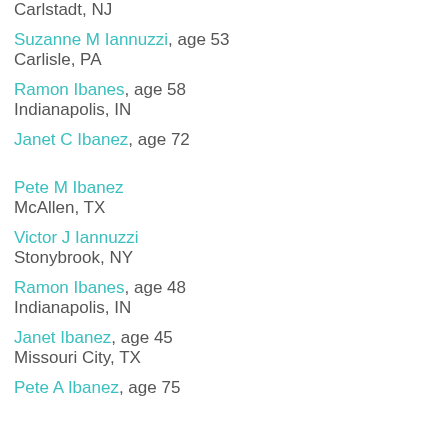Carlstadt, NJ
Suzanne M Iannuzzi, age 53 — Carlisle, PA
Ramon Ibanes, age 58 — Indianapolis, IN
Janet C Ibanez, age 72
Pete M Ibanez — McAllen, TX
Victor J Iannuzzi — Stonybrook, NY
Ramon Ibanes, age 48 — Indianapolis, IN
Janet Ibanez, age 45 — Missouri City, TX
Pete A Ibanez, age 75